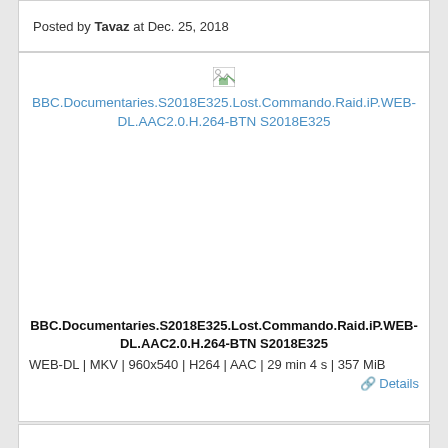Posted by Tavaz at Dec. 25, 2018
[Figure (screenshot): Broken image thumbnail icon for a media file link]
BBC.Documentaries.S2018E325.Lost.Commando.Raid.iP.WEB-DL.AAC2.0.H.264-BTN S2018E325
BBC.Documentaries.S2018E325.Lost.Commando.Raid.iP.WEB-DL.AAC2.0.H.264-BTN S2018E325
WEB-DL | MKV | 960x540 | H264 | AAC | 29 min 4 s | 357 MiB
Details